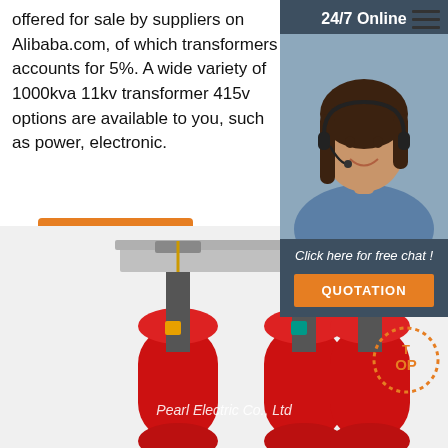offered for sale by suppliers on Alibaba.com, of which transformers accounts for 5%. A wide variety of 1000kva 11kv transformer 415v options are available to you, such as power, electronic.
Get Price
24/7 Online
[Figure (photo): Customer service agent woman with headset smiling]
Click here for free chat !
QUOTATION
[Figure (photo): Three-phase dry-type transformer with red coils, Pearl Electric Co., Ltd]
Pearl Electric Co., Ltd